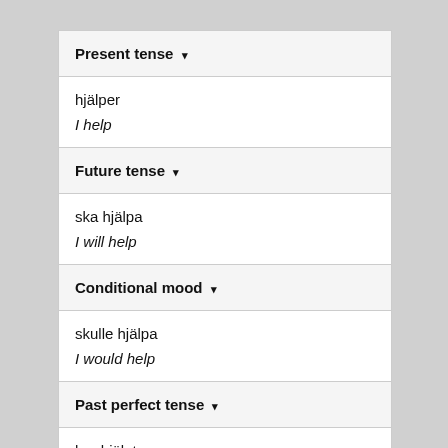Present tense ▾
hjälper
I help
Future tense ▾
ska hjälpa
I will help
Conditional mood ▾
skulle hjälpa
I would help
Past perfect tense ▾
har hjälpt